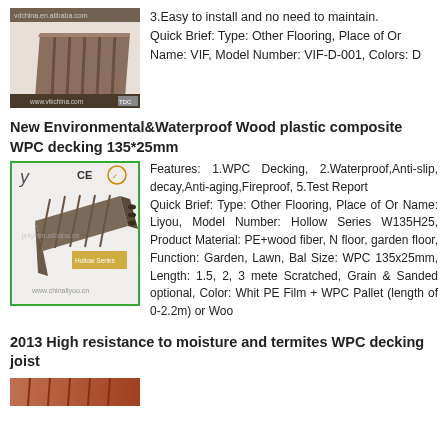[Figure (photo): WPC decking board photo with ribbed texture, shown at angle, with alibaba.com watermark]
3.Easy to install and no need to maintain.
Quick Brief: Type: Other Flooring, Place of Or
Name: VIF, Model Number: VIF-D-001, Colors: D
New Environmental&Waterproof Wood plastic composite WPC decking 135*25mm
[Figure (photo): WPC decking plank product image with CE and quality logos, green border]
Features: 1.WPC Decking, 2.Waterproof,Anti-slip, ... decay,Anti-aging,Fireproof, 5.Test Report
Quick Brief: Type: Other Flooring, Place of Or
Name: Liyou, Model Number: Hollow Series W135H25, Product Material: PE+wood fiber, N
floor, garden floor, Function: Garden, Lawn, Bal
Size: WPC 135x25mm, Length: 1.5, 2, 3 mete
Scratched, Grain & Sanded optional, Color: Whit
PE Film + WPC Pallet (length of 0-2.2m) or Woo
2013 High resistance to moisture and termites WPC decking joist